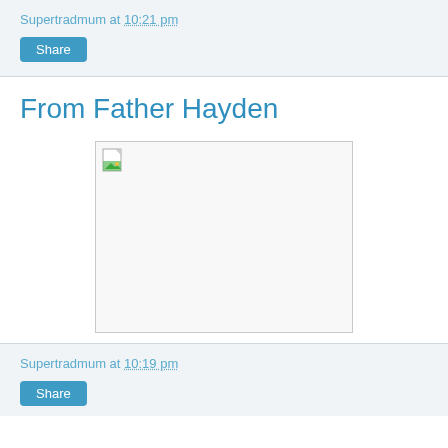Supertradmum at 10:21 pm
Share
From Father Hayden
[Figure (photo): Broken image placeholder with a small image icon in the top-left corner and an empty white rectangle]
Supertradmum at 10:19 pm
Share